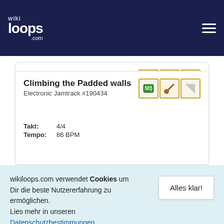wikiloops.com
Straight Ahead
Electronic Jamtrack #207127
Tonart: D major
Climbing the Padded walls
Electronic Jamtrack #190434
Takt: 4/4
Tempo: 86 BPM
wikiloops.com verwendet Cookies um Dir die beste Nutzererfahrung zu ermöglichen. Lies mehr in unseren Datenschutzbestimmungen .